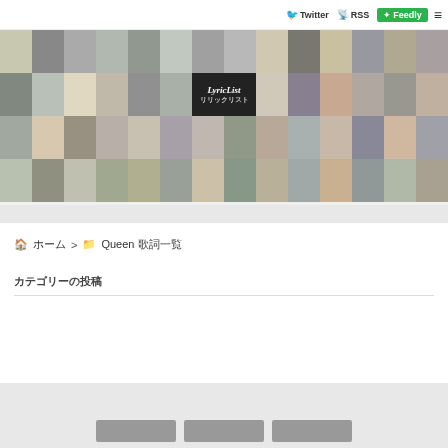Twitter RSS Feedly ≡
[Figure (photo): Collage banner of album cover art in a grid layout, featuring various illustrated and photographic album covers. Center cell shows 'LyricList リリックリスト' text on dark background.]
🏠 ホーム > 📁 Queen 歌詞一覧
カテゴリーの投稿